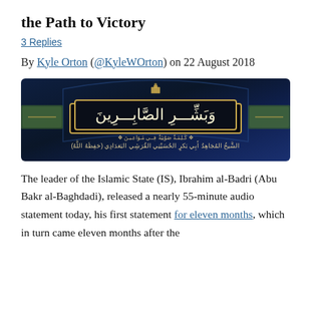the Path to Victory
3 Replies
By Kyle Orton (@KyleWOrton) on 22 August 2018
[Figure (illustration): Dark blue Islamic State propaganda banner with Arabic text reading 'وَبَشِّرِ الصَّابِرِينَ' (Give glad tidings to the patient) in a gold-bordered black box, with Arabic subtitle text below and decorative ornamental elements.]
The leader of the Islamic State (IS), Ibrahim al-Badri (Abu Bakr al-Baghdadi), released a nearly 55-minute audio statement today, his first statement for eleven months, which in turn came eleven months after the